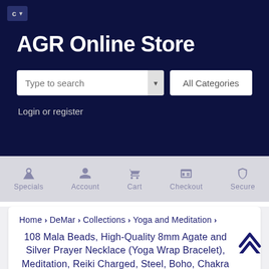AGR Online Store
Type to search | All Categories
Login or register
Specials  Account  Cart  Checkout  Secure
Home > DeMar > Collections > Yoga and Meditation >
108 Mala Beads, High-Quality 8mm Agate and Silver Prayer Necklace (Yoga Wrap Bracelet), Meditation, Reiki Charged, Steel, Boho, Chakra